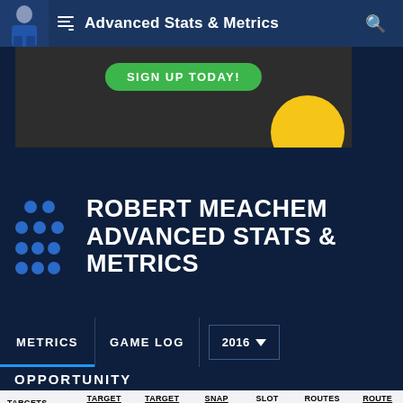Advanced Stats & Metrics
[Figure (screenshot): Ad banner with green SIGN UP TODAY button and yellow circle on dark background]
ROBERT MEACHEM ADVANCED STATS & METRICS
METRICS | GAME LOG | 2016
OPPORTUNITY
| TARGETS | TARGET SHARE | TARGET RATE | SNAP SHARE | SLOT SNAPS | ROUTES RUN | ROUTE % |
| --- | --- | --- | --- | --- | --- | --- |
| -
(0.0 p/g) | 0.0%
(0.0% rz) | - | 0.0% | - | - | - |